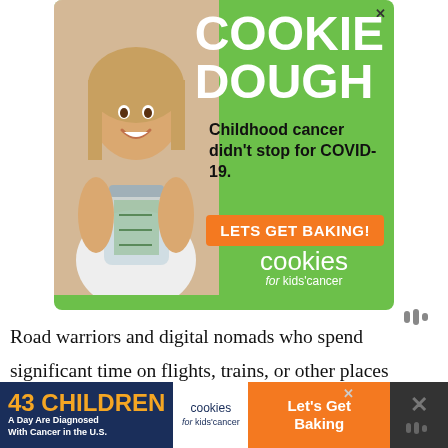[Figure (illustration): Green advertisement banner for 'Cookies for Kids Cancer' showing a girl holding a jar of money. Text reads 'COOKIE DOUGH', 'Childhood cancer didn't stop for COVID-19.', 'LETS GET BAKING!', 'cookies for kids' cancer' logo.]
Road warriors and digital nomads who spend significant time on flights, trains, or other places without accessible power outlets can fill the battery on most laptops at least once,
[Figure (illustration): Bottom banner ad: '43 CHILDREN A Day Are Diagnosed With Cancer in the U.S.' with Cookies for Kids Cancer logo and 'Let's Get Baking' on orange background.]